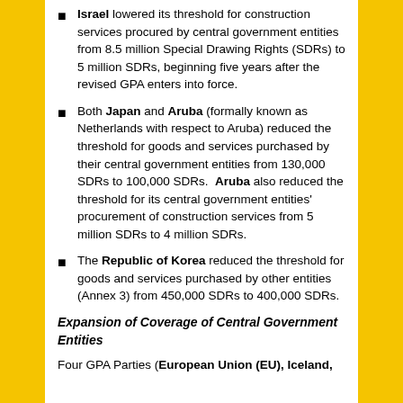Israel lowered its threshold for construction services procured by central government entities from 8.5 million Special Drawing Rights (SDRs) to 5 million SDRs, beginning five years after the revised GPA enters into force.
Both Japan and Aruba (formally known as Netherlands with respect to Aruba) reduced the threshold for goods and services purchased by their central government entities from 130,000 SDRs to 100,000 SDRs. Aruba also reduced the threshold for its central government entities' procurement of construction services from 5 million SDRs to 4 million SDRs.
The Republic of Korea reduced the threshold for goods and services purchased by other entities (Annex 3) from 450,000 SDRs to 400,000 SDRs.
Expansion of Coverage of Central Government Entities
Four GPA Parties (European Union (EU), Iceland,